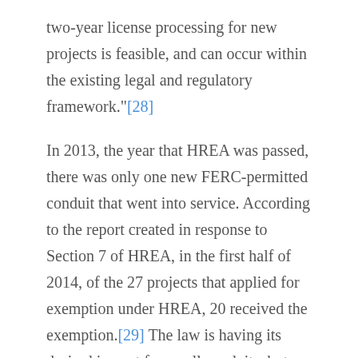two-year license processing for new projects is feasible, and can occur within the existing legal and regulatory framework."[28]

In 2013, the year that HREA was passed, there was only one new FERC-permitted conduit that went into service. According to the report created in response to Section 7 of HREA, in the first half of 2014, of the 27 projects that applied for exemption under HREA, 20 received the exemption.[29] The law is having its desired impact for small conduits, but as the exemptions have a